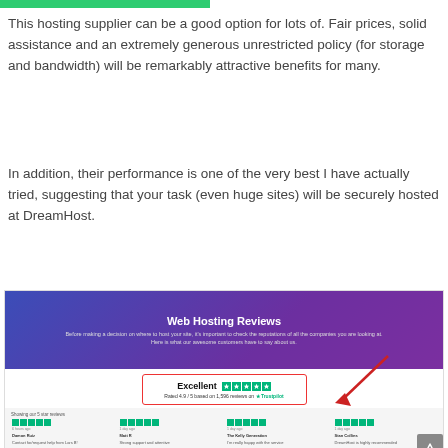[Figure (screenshot): Green bar at top of web page]
This hosting supplier can be a good option for lots of. Fair prices, solid assistance and an extremely generous unrestricted policy (for storage and bandwidth) will be remarkably attractive benefits for many.
In addition, their performance is one of the very best I have actually tried, suggesting that your task (even huge sites) will be securely hosted at DreamHost.
[Figure (screenshot): Web Hosting Reviews banner with gradient blue-purple background showing title 'Web Hosting Reviews', subtitle text about checking reputations, an 'Excellent' Trustpilot rating box highlighted with red border and arrow, and a row of customer review snippets below.]